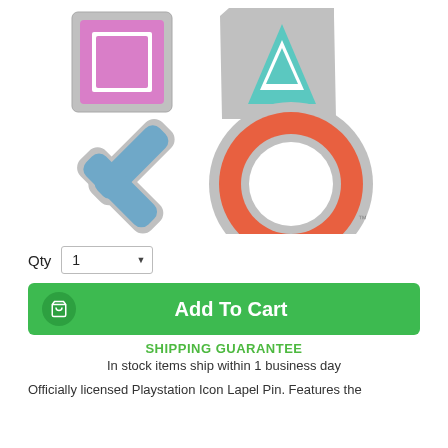[Figure (photo): Close-up photo of a PlayStation Icon Lapel Pin showing the four PlayStation button symbols: square (pink/purple), triangle (teal/green), cross/X (blue), and circle (orange/red), all with silver metallic outlines on a white background.]
Qty 1
Add To Cart
SHIPPING GUARANTEE
In stock items ship within 1 business day
Officially licensed Playstation Icon Lapel Pin. Features the